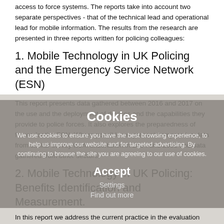access to force systems. The reports take into account two separate perspectives - that of the technical lead and operational lead for mobile information. The results from the research are presented in three reports written for policing colleagues:
1. Mobile Technology in UK Policing and the Emergency Service Network (ESN)
This report presents data gathered between 2016 and 2017 on the use and the deployment of devices and the capabilities they provide to police forces. It also explores the preparedness of forces for the ESN. Where possible we present comparative data from similar survey work undertaken in 2004 and 2006 and data gathered from other sectors.
2. Mobile Technology in UK Policing: Benefits Identification and Measurement.
In this report we address the current practice in the evaluation and measurement of the influence of mobile technology in UK police services. An important output from this study was the identification and validation of a benefits framework composed of seven measurement themes.